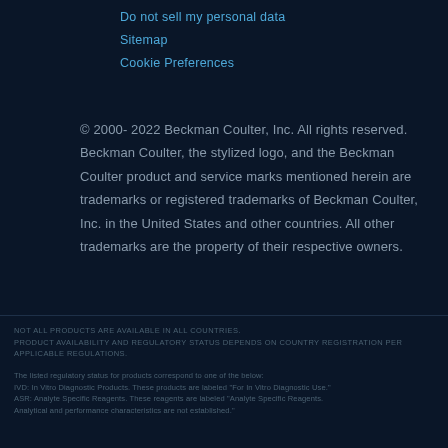Do not sell my personal data
Sitemap
Cookie Preferences
© 2000- 2022 Beckman Coulter, Inc. All rights reserved. Beckman Coulter, the stylized logo, and the Beckman Coulter product and service marks mentioned herein are trademarks or registered trademarks of Beckman Coulter, Inc. in the United States and other countries. All other trademarks are the property of their respective owners.
NOT ALL PRODUCTS ARE AVAILABLE IN ALL COUNTRIES. PRODUCT AVAILABILITY AND REGULATORY STATUS DEPENDS ON COUNTRY REGISTRATION PER APPLICABLE REGULATIONS.
The listed regulatory status for products correspond to one of the below: IVD: In Vitro Diagnostic Products. These products are labeled "For In Vitro Diagnostic Use." ASR: Analyte Specific Reagents. These reagents are labeled "Analyte Specific Reagents. Analytical and performance characteristics are not established."